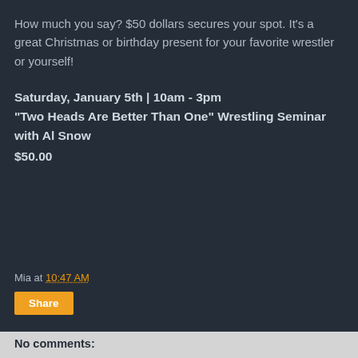How much you say? $50 dollars secures your spot. It's a great Christmas or birthday present for your favorite wrestler or yourself!
Saturday, January 5th | 10am - 3pm
"Two Heads Are Better Than One" Wrestling Seminar with Al Snow
$50.00
Mia at 10:47 AM
Share
No comments: